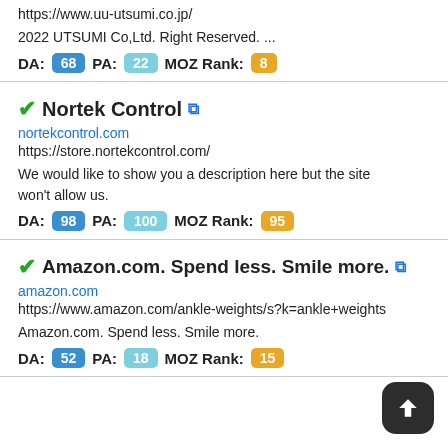https://www.uu-utsumi.co.jp/
2022 UTSUMI Co,Ltd. Right Reserved. ...
DA: 68  PA: 22  MOZ Rank: 8
Nortek Control
nortekcontrol.com
https://store.nortekcontrol.com/
We would like to show you a description here but the site won't allow us.
DA: 98  PA: 100  MOZ Rank: 95
Amazon.com. Spend less. Smile more.
amazon.com
https://www.amazon.com/ankle-weights/s?k=ankle+weights
Amazon.com. Spend less. Smile more.
DA: 52  PA: 18  MOZ Rank: 15